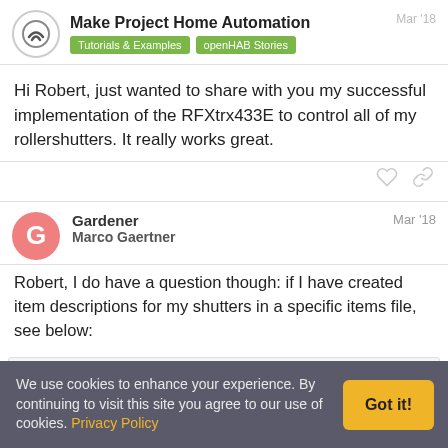Make Project Home Automation — Tutorials & Examples | openHAB Stories
Hi Robert, just wanted to share with you my successful implementation of the RFXtrx433E to control all of my rollershutters. It really works great.
Gardener — Marco Gaertner — Mar '18
Robert, I do have a question though: if I have created item descriptions for my shutters in a specific items file, see below:
Group:Rollershutter:OR(UP, DOWN)      gShutters
Group:Rollershutter:OR(UP, DOWN)      gShutters_E
We use cookies to enhance your experience. By continuing to visit this site you agree to our use of cookies. Privacy Policy